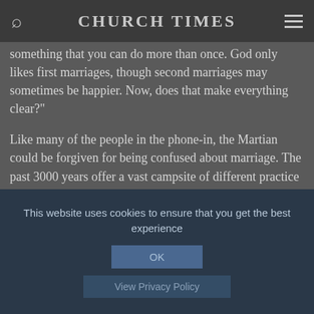CHURCH TIMES
something that you can do more than once. God only likes first marriages, though second marriages may sometimes be happier. Now, does that make everything clear?"
Like many of the people in the phone-in, the Martian could be forgiven for being confused about marriage. The past 3000 years offer a vast campsite of different practice and possibility, and where we pitch our particular tent is not an easy choice. The liberating truth, however, is that marriage does not exist - and I say this in merry hope, not gloomy
This website uses cookies to ensure that you get the best experience
OK
View Privacy Policy